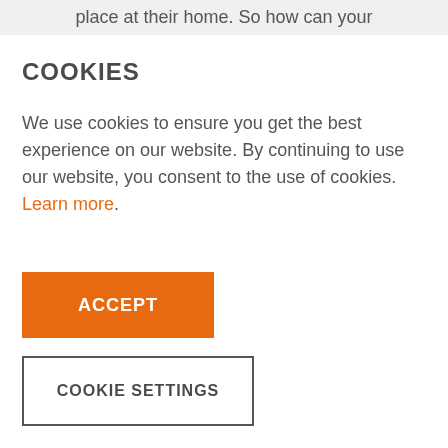place at their home. So how can your
COOKIES
We use cookies to ensure you get the best experience on our website. By continuing to use our website, you consent to the use of cookies. Learn more.
ACCEPT
COOKIE SETTINGS